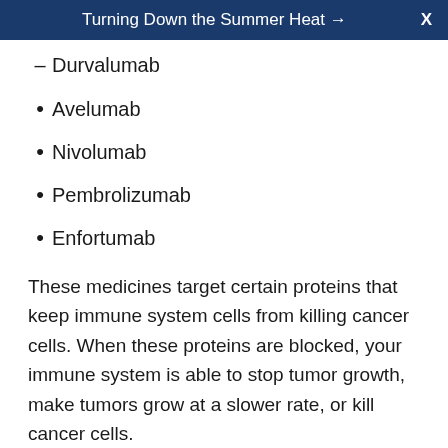Turning Down the Summer Heat → X
– Durvalumab
• Avelumab
• Nivolumab
• Pembrolizumab
• Enfortumab
These medicines target certain proteins that keep immune system cells from killing cancer cells. When these proteins are blocked, your immune system is able to stop tumor growth, make tumors grow at a slower rate, or kill cancer cells.
Systemic immunotherapy is often given once a week every few weeks. The schedule depends on the medicine that's used. You can get it at your provider's office or an outpatient clinic. You don't